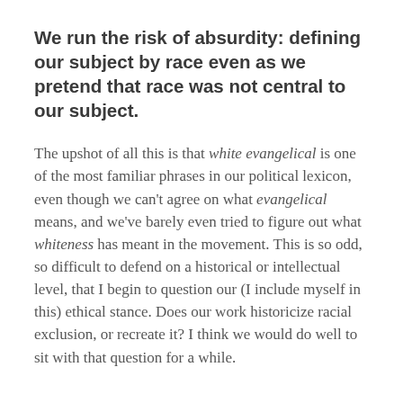We run the risk of absurdity: defining our subject by race even as we pretend that race was not central to our subject.
The upshot of all this is that white evangelical is one of the most familiar phrases in our political lexicon, even though we can't agree on what evangelical means, and we've barely even tried to figure out what whiteness has meant in the movement. This is so odd, so difficult to defend on a historical or intellectual level, that I begin to question our (I include myself in this) ethical stance. Does our work historicize racial exclusion, or recreate it? I think we would do well to sit with that question for a while.